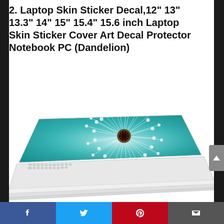2. Laptop Skin Sticker Decal,12" 13" 13.3" 14" 15" 15.4" 15.6 inch Laptop Skin Sticker Cover Art Decal Protector Notebook PC (Dandelion)
[Figure (photo): A laptop computer with a dandelion-themed skin sticker decal applied to the lid, showing a close-up photograph of a dandelion seed head against a teal/blue-green blurred background. The laptop is white and partially open, viewed from a three-quarter angle.]
Facebook | Twitter | Pinterest | Email